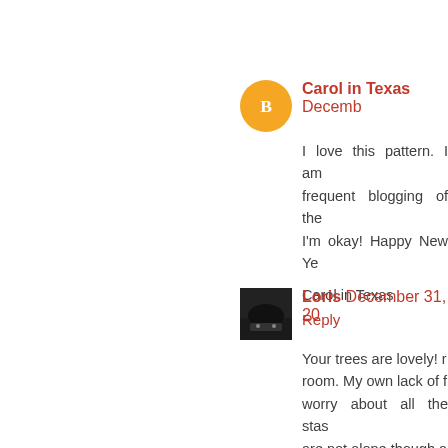Carol in Texas  December...
I love this pattern. I am frequent blogging of the I'm okay! Happy New Ye

Carol in Texas
Reply
Loris  December 31, 20...
Your trees are lovely! room. My own lack of f worry about all the stas are not alone though a hope so.
I can be glad that I have 68 and just really learn quilting interests though Enjoy your beautiful new
Reply